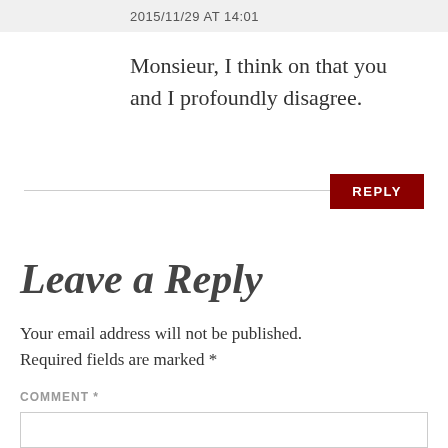2015/11/29 AT 14:01
Monsieur, I think on that you and I profoundly disagree.
REPLY
Leave a Reply
Your email address will not be published. Required fields are marked *
COMMENT *